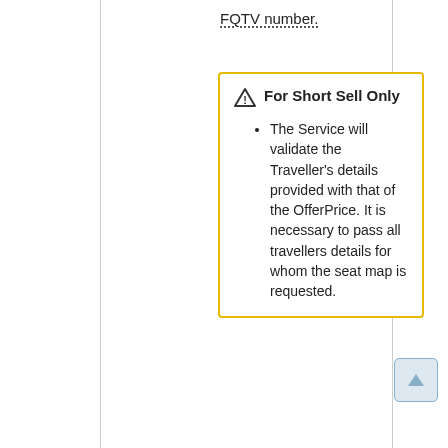FQTV number.
For Short Sell Only
The Service will validate the Traveller's details provided with that of the OfferPrice. It is necessary to pass all travellers details for whom the seat map is requested.